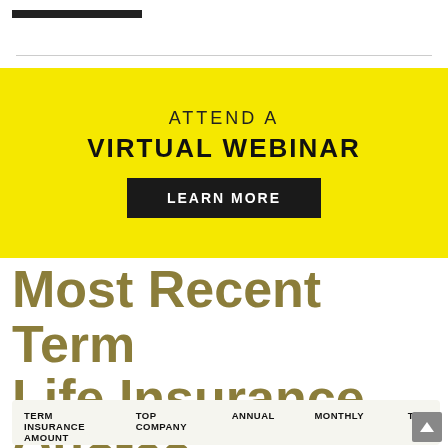[Figure (other): Yellow promotional banner with text ATTEND A VIRTUAL WEBINAR and a LEARN MORE button]
Most Recent Term Life Insurance Quotes
| TERM INSURANCE AMOUNT | TOP COMPANY | ANNUAL | MONTHLY | TI... |
| --- | --- | --- | --- | --- |